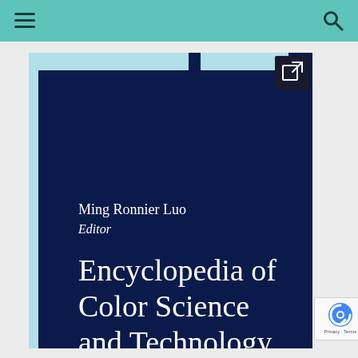Navigation bar with hamburger menu and search icon
[Figure (photo): Book cover of 'Encyclopedia of Color Science and Technology' edited by Ming Ronnier Luo. Dark navy blue cover with white text. Shows editor name 'Ming Ronnier Luo' and italic 'Editor' subtitle, followed by large title text 'Encyclopedia of Color Science and Technology'. Cover has light blue accent strips on left and top edges. An external link icon is overlaid in the top-right corner.]